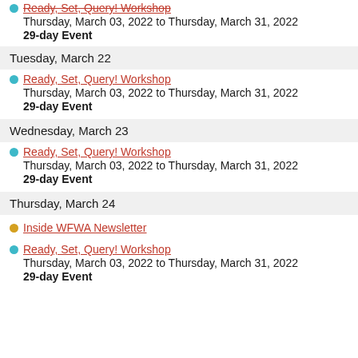Ready, Set, Query! Workshop
Thursday, March 03, 2022 to Thursday, March 31, 2022
29-day Event
Tuesday, March 22
Ready, Set, Query! Workshop
Thursday, March 03, 2022 to Thursday, March 31, 2022
29-day Event
Wednesday, March 23
Ready, Set, Query! Workshop
Thursday, March 03, 2022 to Thursday, March 31, 2022
29-day Event
Thursday, March 24
Inside WFWA Newsletter
Ready, Set, Query! Workshop
Thursday, March 03, 2022 to Thursday, March 31, 2022
29-day Event